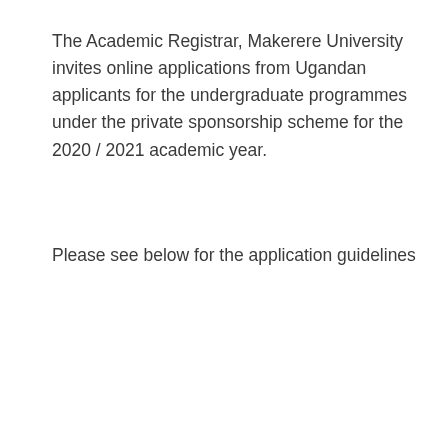The Academic Registrar, Makerere University invites online applications from Ugandan applicants for the undergraduate programmes under the private sponsorship scheme for the 2020 / 2021 academic year.
Please see below for the application guidelines